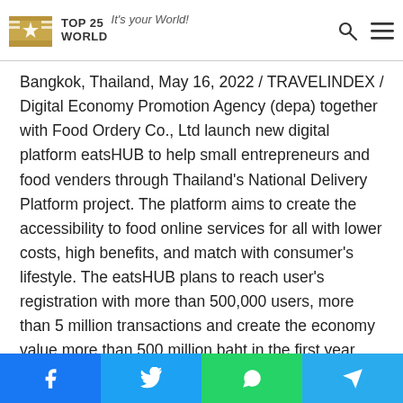TOP 25 WORLD — It's your World!
Bangkok, Thailand, May 16, 2022 / TRAVELINDEX / Digital Economy Promotion Agency (depa) together with Food Ordery Co., Ltd launch new digital platform eatsHUB to help small entrepreneurs and food venders through Thailand's National Delivery Platform project. The platform aims to create the accessibility to food online services for all with lower costs, high benefits, and match with consumer's lifestyle. The eatsHUB plans to reach user's registration with more than 500,000 users, more than 5 million transactions and create the economy value more than 500 million baht in the first year. Now available for download both android and iOS operating system.
Facebook | Twitter | WhatsApp | Telegram